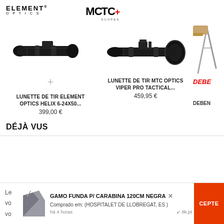[Figure (logo): Element Optics logo - brand name with subtitle OPTICS]
[Figure (logo): MTC+ logo in black and red]
[Figure (photo): Lunette de tir Element Optics Helix 6-24x50 rifle scope, black, diagonal view]
LUNETTE DE TIR ELEMENT OPTICS HELIX 6-24X50...
399,00 €
[Figure (photo): Lunette de tir MTC Optics Viper Pro Tactical rifle scope, black, diagonal view]
LUNETTE DE TIR MTC OPTICS VIPER PRO TACTICAL...
459,95 €
[Figure (photo): Partial view of a third product on the right side, partially cropped]
DEBE
DEBEN
DÉJÀ VUS
GAMO FUNDA P/ CARABINA 120CM NEGRA
Comprado em: (HOSPITALET DE LLOBREGAT, ES )
há 4 horas
↙ 8k.pt
CEPTE